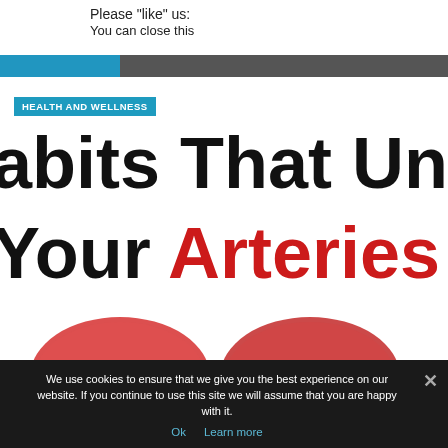Please "like" us:
You can close this
[Figure (screenshot): Navigation bar with blue tab and dark gray background]
HEALTH AND WELLNESS
habits That Un Your Arteries
[Figure (illustration): Red circular objects partially visible at bottom of article area]
We use cookies to ensure that we give you the best experience on our website. If you continue to use this site we will assume that you are happy with it.
Ok  Learn more